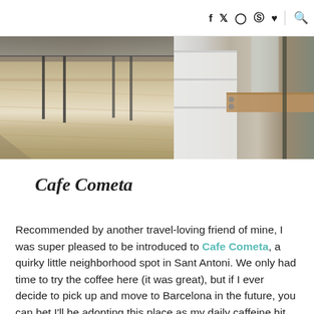f  t  [instagram]  [pinterest]  [heart]  [search]
[Figure (photo): Two photos side by side: left shows a light wood plank floor with metal chair legs; right shows a partially visible interior with shelving and a wooden beam/counter detail.]
Cafe Cometa
Recommended by another travel-loving friend of mine, I was super pleased to be introduced to Cafe Cometa, a quirky little neighborhood spot in Sant Antoni. We only had time to try the coffee here (it was great), but if I ever decide to pick up and move to Barcelona in the future, you can bet I'll be adopting this place as my daily caffeine hit.